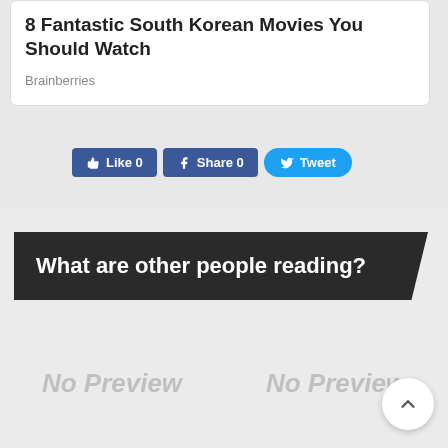8 Fantastic South Korean Movies You Should Watch
Brainberries
[Figure (screenshot): Social sharing buttons: Like 0 (Facebook), Share 0 (Facebook), Tweet (Twitter)]
What are other people reading?
[Figure (other): No Preview placeholder]
[Figure (other): No Preview placeholder]